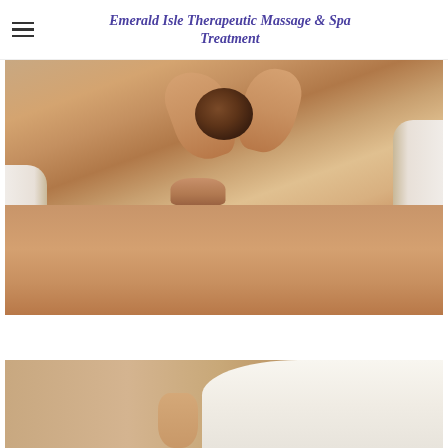Emerald Isle Therapeutic Massage & Spa Treatment
[Figure (photo): Close-up photo of a massage therapist's hands pressing into a client's upper back/neck area. The client has brown hair in a bun and is lying face down on a massage table with white sheets.]
[Figure (photo): Photo of a person lying on a massage table receiving a lower back massage. The person is wearing white underwear and a hand is visible pressing on their lower back.]